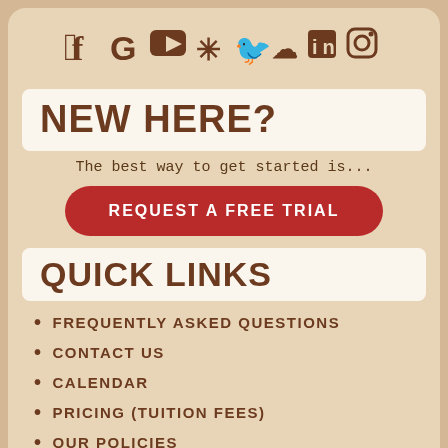[Figure (infographic): Social media icons row: Facebook, Google, YouTube, Yelp, Twitter, SoundCloud, LinkedIn, Instagram in dark brown color]
NEW HERE?
The best way to get started is...
REQUEST A FREE TRIAL
QUICK LINKS
FREQUENTLY ASKED QUESTIONS
CONTACT US
CALENDAR
PRICING (TUITION FEES)
OUR POLICIES
AGE AND INSTRUMENT GUIDELINES
THE MUSIC TIME TEAM (OUR INSTRUCTORS)